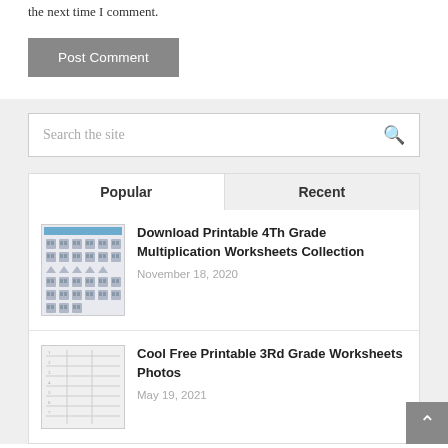the next time I comment.
Post Comment
Search the site
Popular
Recent
Download Printable 4Th Grade Multiplication Worksheets Collection
November 18, 2020
Cool Free Printable 3Rd Grade Worksheets Photos
May 19, 2021